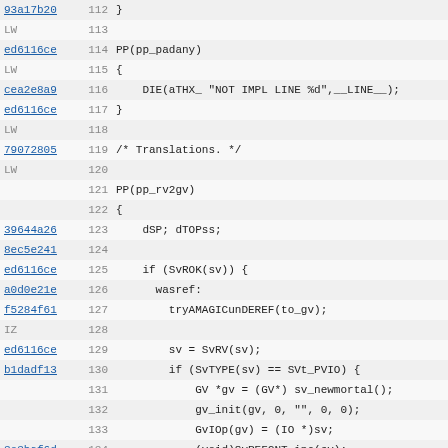Source code listing lines 112-143 showing Perl XS/C code for pp_padany and pp_rv2gv functions with commit hashes and line numbers.